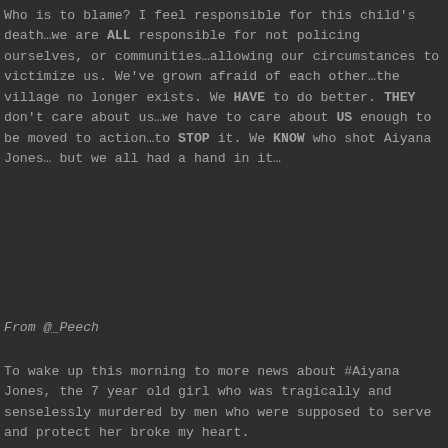Who is to blame? I feel responsible for this child's death…we are ALL responsible for not policing ourselves, or communities…allowing our circumstances to victimize us. We've grown afraid of each other…the village no longer exists. We HAVE to do better. THEY don't care about us…we have to care about US enough to be moved to action…to STOP it. We KNOW who shot Aiyana Jones… but we all had a hand in it…
From @_Peech
To wake up this morning to more news about #Aiyana Jones, the 7 year old girl who was tragically and senselessly murdered by men who were supposed to serve and protect her broke my heart.